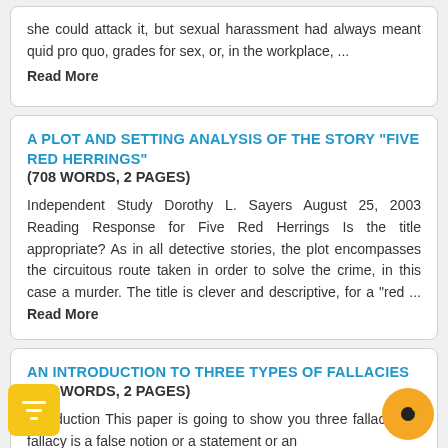she could attack it, but sexual harassment had always meant quid pro quo, grades for sex, or, in the workplace, ... Read More
A PLOT AND SETTING ANALYSIS OF THE STORY "FIVE RED HERRINGS"
(708 WORDS, 2 PAGES)
Independent Study Dorothy L. Sayers August 25, 2003 Reading Response for Five Red Herrings Is the title appropriate? As in all detective stories, the plot encompasses the circuitous route taken in order to solve the crime, in this case a murder. The title is clever and descriptive, for a "red ... Read More
AN INTRODUCTION TO THREE TYPES OF FALLACIES
(977 WORDS, 2 PAGES)
Introduction This paper is going to show you three fallacies. A fallacy is a false notion or a statement or an